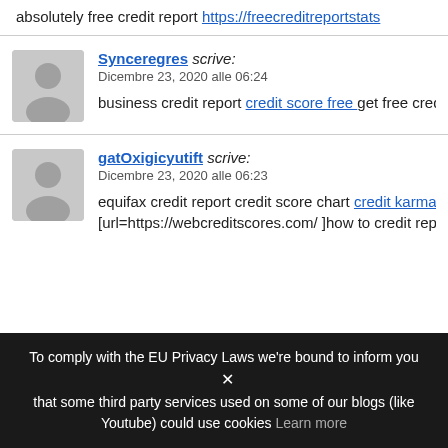absolutely free credit report https://freecreditreportstats...
Synceregres scrive: Dicembre 23, 2020 alle 06:24
business credit report credit score free get free credit sc...
gatOxigicyutift scrive: Dicembre 23, 2020 alle 06:23
equifax credit report credit score chart credit karma con... [url=https://webcreditscores.com/ ]how to credit report...
To comply with the EU Privacy Laws we're bound to inform you that some third party services used on some of our blogs (like Youtube) could use cookies Learn more